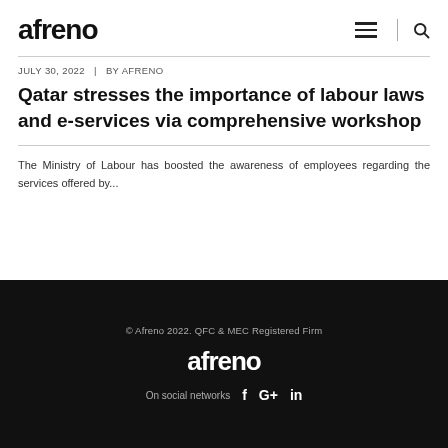afreno
JULY 30, 2022   |   BY AFRENO
Qatar stresses the importance of labour laws and e-services via comprehensive workshop
The Ministry of Labour has boosted the awareness of employees regarding the services offered by...
© Afreno 2022. QFC & MEC Registered Firm
afreno
On social networks  f  G+  in